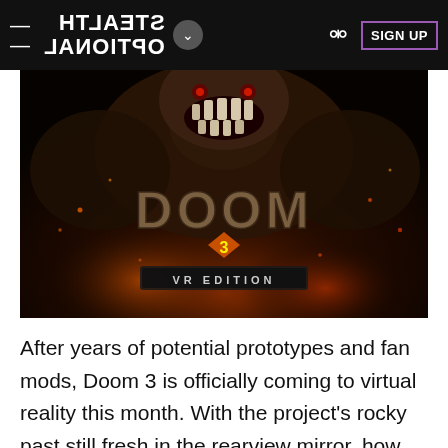STEALTH OPTIONAL
[Figure (screenshot): Doom 3 VR Edition promotional image showing a monstrous creature above the DOOM 3 VR EDITION logo on a dark fiery background]
After years of potential prototypes and fan mods, Doom 3 is officially coming to virtual reality this month. With the project's rocky past still fresh in the rearview mirror, how does original creator John Carmack feel about the new Doom